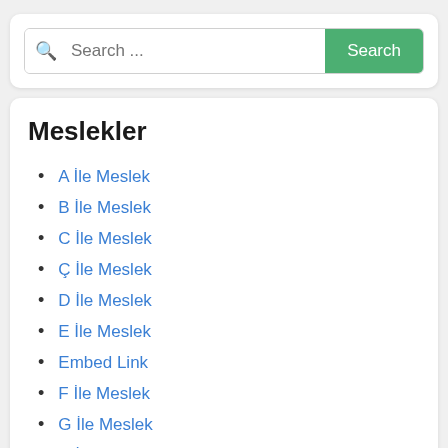[Figure (screenshot): Search bar with text 'Search ...' placeholder and a green 'Search' button]
Meslekler
A İle Meslek
B İle Meslek
C İle Meslek
Ç İle Meslek
D İle Meslek
E İle Meslek
Embed Link
F İle Meslek
G İle Meslek
H İle Meslek